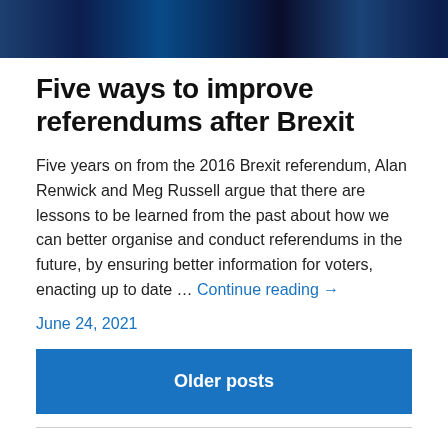[Figure (photo): Dark blue toned photograph banner at the top of the page, showing indistinct figures or objects with blue lighting]
Five ways to improve referendums after Brexit
Five years on from the 2016 Brexit referendum, Alan Renwick and Meg Russell argue that there are lessons to be learned from the past about how we can better organise and conduct referendums in the future, by ensuring better information for voters, enacting up to date …
Continue reading →
June 24, 2021
Older posts